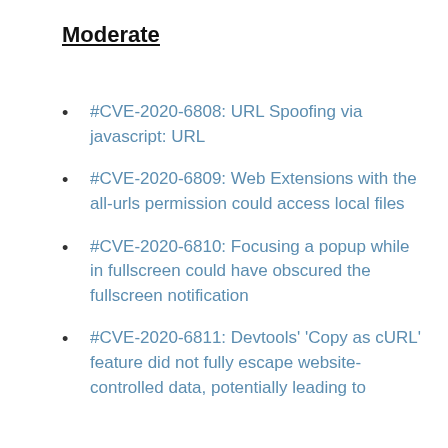Moderate
#CVE-2020-6808: URL Spoofing via javascript: URL
#CVE-2020-6809: Web Extensions with the all-urls permission could access local files
#CVE-2020-6810: Focusing a popup while in fullscreen could have obscured the fullscreen notification
#CVE-2020-6811: Devtools' 'Copy as cURL' feature did not fully escape website-controlled data, potentially leading to